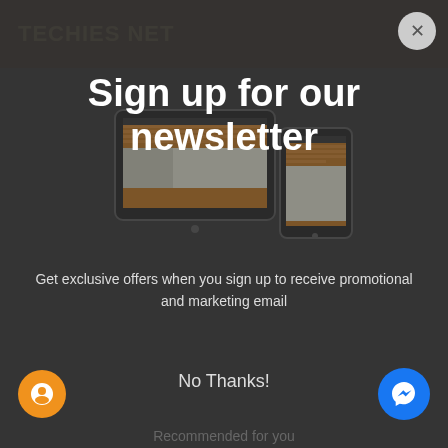TECHIES NET
Sign up for our newsletter
Get exclusive offers when you sign up to receive promotional and marketing email
[Figure (screenshot): Background webpage showing tablet and phone devices with Techies Net website displayed]
First | Last (form input fields)
Email Address (form input field)
Subscribe (button)
No Thanks!
| Careers | Donate Us | All Right Reserved.
owners.
Recommended for you